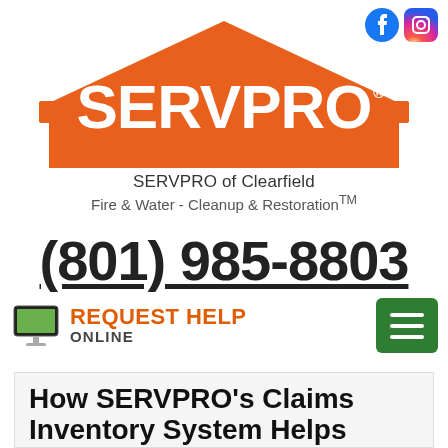[Figure (logo): SERVPRO orange house/roof logo with white SERVPRO text and registered trademark symbol]
SERVPRO of Clearfield
Fire & Water - Cleanup & Restoration™
(801) 985-8803
[Figure (infographic): REQUEST HELP ONLINE button with green monitor icon]
[Figure (other): Green hamburger menu button]
How SERVPRO's Claims Inventory System Helps Insurance